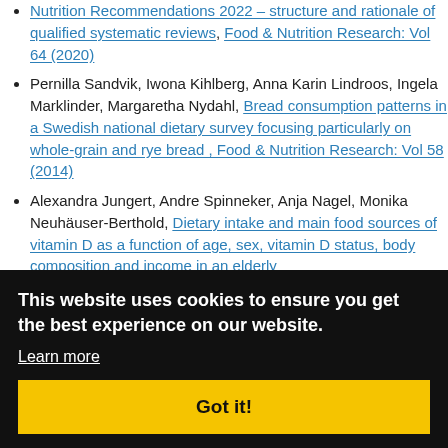Nutrition Recommendations 2022 – structure and rationale of qualified systematic reviews , Food & Nutrition Research: Vol 64 (2020)
Pernilla Sandvik, Iwona Kihlberg, Anna Karin Lindroos, Ingela Marklinder, Margaretha Nydahl, Bread consumption patterns in a Swedish national dietary survey focusing particularly on whole-grain and rye bread , Food & Nutrition Research: Vol 58 (2014)
Alexandra Jungert, Andre Spinneker, Anja Nagel, Monika Neuhäuser-Berthold, Dietary intake and main food sources of vitamin D as a function of age, sex, vitamin D status, body composition and income in an elderly [partially obscured]
[partially visible] ...Dutta ...intake in ...ity: A ...ition
[partially visible] ...arker, Nordgård Vik, Free school meals as an opportunity to
This website uses cookies to ensure you get the best experience on our website. Learn more